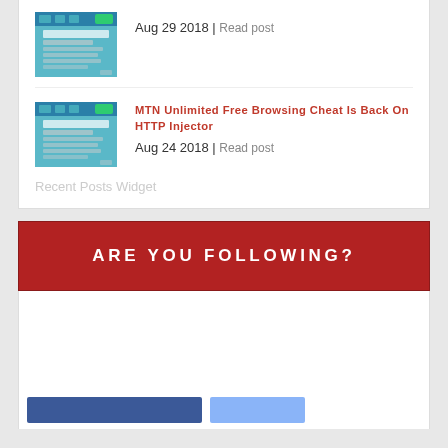Aug 29 2018 | Read post
MTN Unlimited Free Browsing Cheat Is Back On HTTP Injector
Aug 24 2018 | Read post
Recent Posts Widget
ARE YOU FOLLOWING?